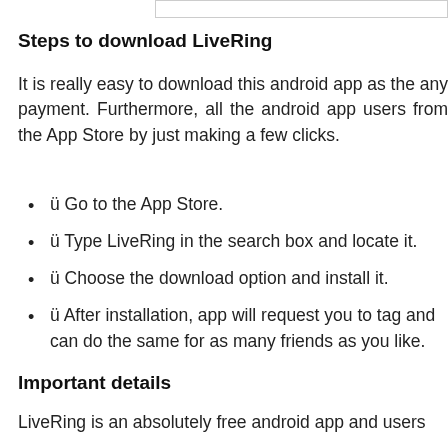Steps to download LiveRing
It is really easy to download this android app as the any payment. Furthermore, all the android app users from the App Store by just making a few clicks.
ü Go to the App Store.
ü Type LiveRing in the search box and locate it.
ü Choose the download option and install it.
ü After installation, app will request you to tag and can do the same for as many friends as you like.
Important details
LiveRing is an absolutely free android app and users